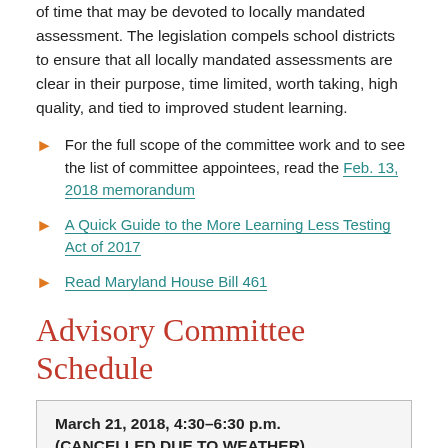of time that may be devoted to locally mandated assessment. The legislation compels school districts to ensure that all locally mandated assessments are clear in their purpose, time limited, worth taking, high quality, and tied to improved student learning.
For the full scope of the committee work and to see the list of committee appointees, read the Feb. 13, 2018 memorandum
A Quick Guide to the More Learning Less Testing Act of 2017
Read Maryland House Bill 461
Advisory Committee Schedule
| March 21, 2018, 4:30–6:30 p.m. | (CANCELLED DUE TO WEATHER) | Richard Montgomery High School, Media Center | Agenda |